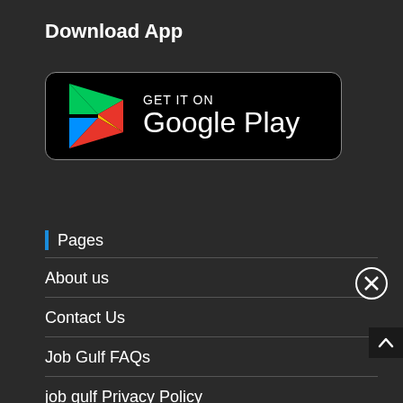Download App
[Figure (logo): Google Play Store badge with play triangle logo and text 'GET IT ON Google Play' on black rounded rectangle background]
Pages
About us
Contact Us
Job Gulf FAQs
job gulf Privacy Policy